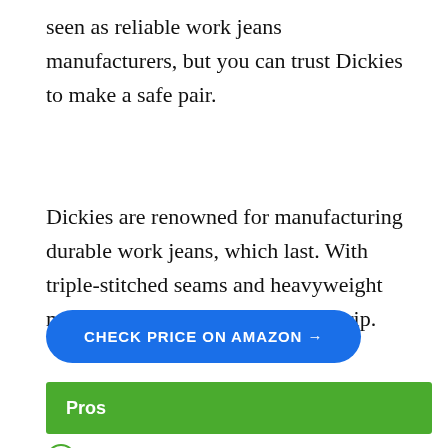seen as reliable work jeans manufacturers, but you can trust Dickies to make a safe pair.
Dickies are renowned for manufacturing durable work jeans, which last. With triple-stitched seams and heavyweight material, these jeans won't tear or rip.
CHECK PRICE ON AMAZON →
Pros
Different shade options